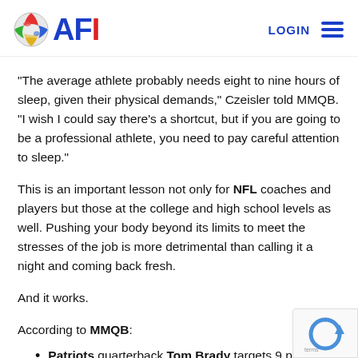AFI — LOGIN (navigation header)
“The average athlete probably needs eight to nine hours of sleep, given their physical demands,” Czeisler told MMQB. “I wish I could say there’s a shortcut, but if you are going to be a professional athlete, you need to pay careful attention to sleep.”
This is an important lesson not only for NFL coaches and players but those at the college and high school levels as well. Pushing your body beyond its limits to meet the stresses of the job is more detrimental than calling it a night and coming back fresh.
And it works.
According to MMQB:
Patriots quarterback Tom Brady targets 9 p.m. as his bed time on non-game nights.